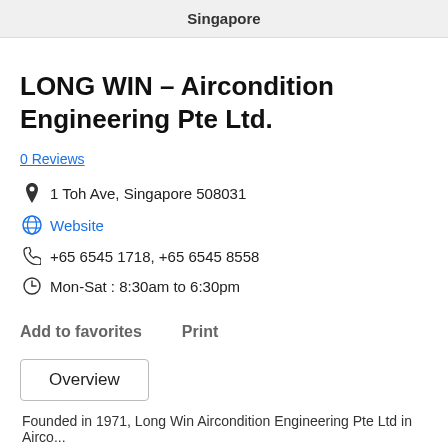Singapore
LONG WIN – Aircondition Engineering Pte Ltd.
0 Reviews
1 Toh Ave, Singapore 508031
Website
+65 6545 1718, +65 6545 8558
Mon-Sat : 8:30am to 6:30pm
Add to favorites   Print
Overview
Founded in 1971, Long Win Aircondition Engineering Pte Ltd in Airco...